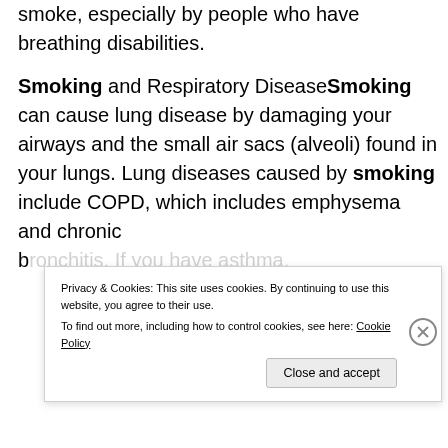smoke, especially by people who have breathing disabilities.
Smoking and Respiratory DiseaseSmoking can cause lung disease by damaging your airways and the small air sacs (alveoli) found in your lungs. Lung diseases caused by smoking include COPD, which includes emphysema and chronic bronchitis. If you have asthma,
Privacy & Cookies: This site uses cookies. By continuing to use this website, you agree to their use.
To find out more, including how to control cookies, see here: Cookie Policy
Close and accept